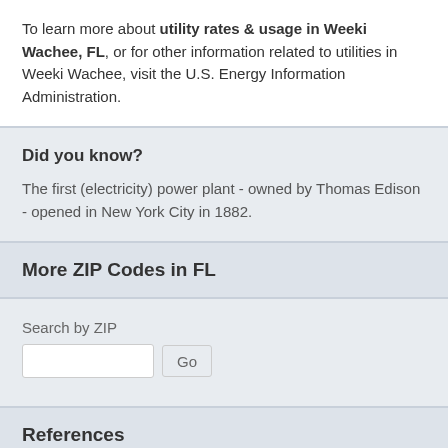To learn more about utility rates & usage in Weeki Wachee, FL, or for other information related to utilities in Weeki Wachee, visit the U.S. Energy Information Administration.
Did you know?
The first (electricity) power plant - owned by Thomas Edison - opened in New York City in 1882.
More ZIP Codes in FL
Search by ZIP
References
1. U.S. Department of Energy (DOE)